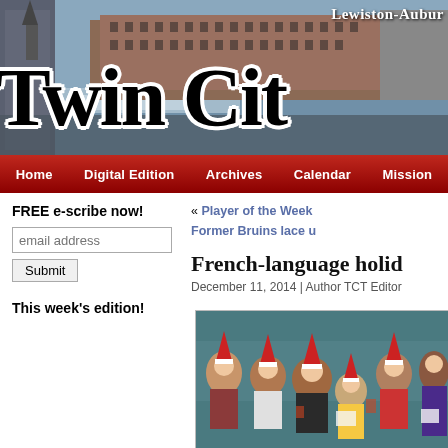[Figure (photo): Twin Cities newspaper banner with city skyline/waterfall photo background showing brick mill buildings. Text overlay reads 'Lewiston-Aubu...' at top right and 'Twin Cit...' in large serif bold black letters with white outline.]
Home | Digital Edition | Archives | Calendar | Mission
FREE e-scribe now!
email address
Submit
This week's edition!
« Player of the Week
Former Bruins lace u...
French-language holid...
December 11, 2014 | Author TCT Editor...
[Figure (photo): Group photo of women wearing Santa hats and holiday sweaters, some holding papers, gathered indoors in front of a teal wall.]